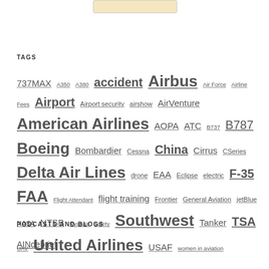TAGS
737MAX A350 A380 accident Airbus Air Force Airline Fees Airport Airport security airshow AirVenture American Airlines AOPA ATC B737 B787 Boeing Bombardier Cessna China Cirrus CSeries Delta Air Lines drone EAA Eclipse electric F-35 FAA Flight Attendant flight training Frontier General Aviation jetBlue NASA NTSB Ryanair safety Southwest Tanker TSA UAV United Airlines USAF women in aviation
PODCASTS AND BLOGS
AINdebrief